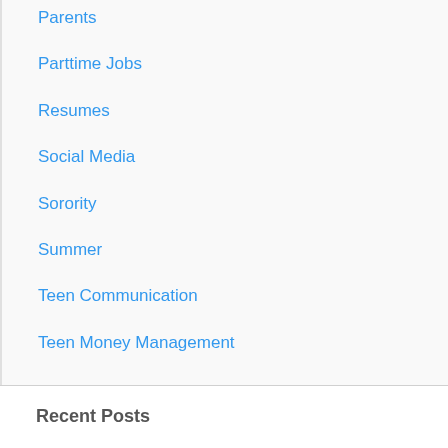Parents
Parttime Jobs
Resumes
Social Media
Sorority
Summer
Teen Communication
Teen Money Management
Recent Posts
Are You Playing Checkers OR Chess?